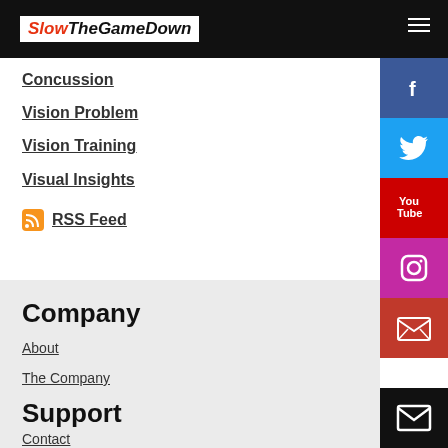SlowTheGameDown
Concussion
Vision Problem
Vision Training
Visual Insights
RSS Feed
Company
About
The Company
Support
Contact